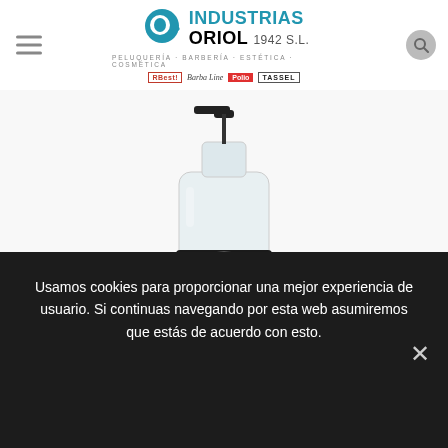Industrias Oriol 1942 S.L. — Peluquería · Barbería · Estética · Cosmética
[Figure (photo): Pump bottle of Captain Cook Barber Products with black pump dispenser and dark label featuring a skull with sunglasses and beard logo]
Usamos cookies para proporcionar una mejor experiencia de usuario. Si continuas navegando por esta web asumiremos que estás de acuerdo con esto.